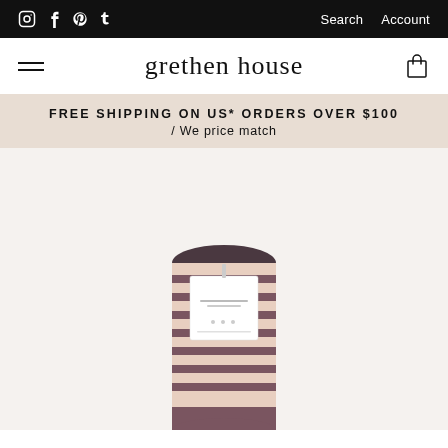grethen house — top navigation bar with social icons (Instagram, Facebook, Pinterest, Tumblr) and Search / Account links
grethen house
FREE SHIPPING ON US* ORDERS OVER $100 / We price match
[Figure (photo): Product photo of folded striped socks with cream and dark mauve/brown stripes, displayed with a white hang tag showing brand label, on a white background.]